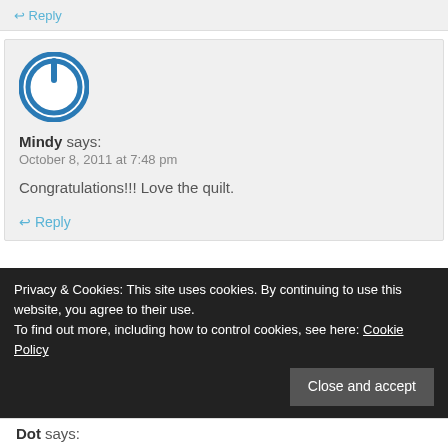↩ Reply
[Figure (logo): Blue circular power button icon/avatar for user Mindy]
Mindy says:
October 8, 2011 at 7:48 pm
Congratulations!!! Love the quilt.
↩ Reply
Privacy & Cookies: This site uses cookies. By continuing to use this website, you agree to their use. To find out more, including how to control cookies, see here: Cookie Policy
Close and accept
Dot says: